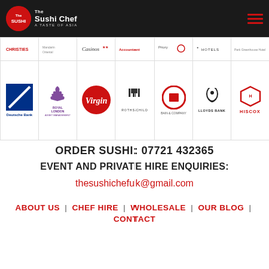The Sushi Chef - A Taste of Asia
[Figure (logo): Grid of client/partner logos: row 1 (partially visible) includes Christies, Mandarin Oriental, Casinos, Accountancy, and other brands; row 2 includes Deutsche Bank, Royal London Asset Management, Virgin, Rothschild, Bain & Company, Lloyds Bank, Hiscox]
ORDER SUSHI: 07721 432365
EVENT AND PRIVATE HIRE ENQUIRIES:
thesushichefuk@gmail.com
ABOUT US  |  CHEF HIRE  |  WHOLESALE  |  OUR BLOG  |  CONTACT